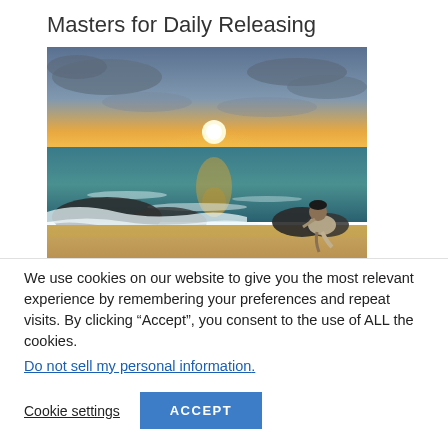Masters for Daily Releasing
[Figure (photo): A person sitting on rocky shore watching a sunset over the ocean with waves and sandy beach]
We use cookies on our website to give you the most relevant experience by remembering your preferences and repeat visits. By clicking “Accept”, you consent to the use of ALL the cookies.
Do not sell my personal information.
Cookie settings
ACCEPT